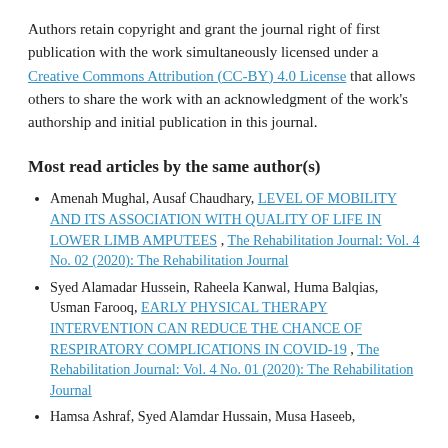Authors retain copyright and grant the journal right of first publication with the work simultaneously licensed under a Creative Commons Attribution (CC-BY) 4.0 License that allows others to share the work with an acknowledgment of the work's authorship and initial publication in this journal.
Most read articles by the same author(s)
Amenah Mughal, Ausaf Chaudhary, LEVEL OF MOBILITY AND ITS ASSOCIATION WITH QUALITY OF LIFE IN LOWER LIMB AMPUTEES , The Rehabilitation Journal: Vol. 4 No. 02 (2020): The Rehabilitation Journal
Syed Alamadar Hussein, Raheela Kanwal, Huma Balqias, Usman Farooq, EARLY PHYSICAL THERAPY INTERVENTION CAN REDUCE THE CHANCE OF RESPIRATORY COMPLICATIONS IN COVID-19 , The Rehabilitation Journal: Vol. 4 No. 01 (2020): The Rehabilitation Journal
Hamsa Ashraf, Syed Alamdar Hussain, Musa Haseeb,